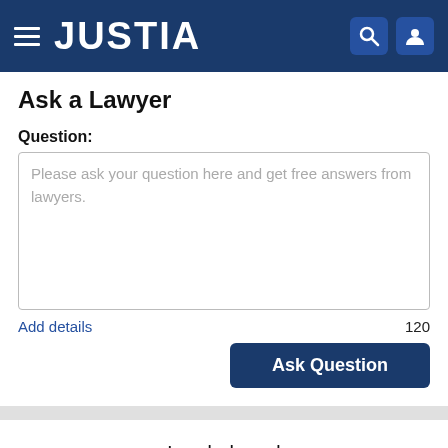JUSTIA
Ask a Lawyer
Question:
Please ask your question here and get free answers from lawyers.
Add details
120
Ask Question
Leaderboard
New Mexico
Traffic Tickets
All Time